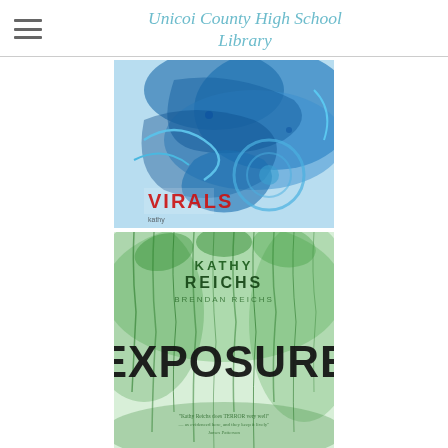Unicoi County High School Library
[Figure (illustration): Book cover for VIRALS - blue abstract design with swirling patterns and the word VIRALS in red at the bottom]
[Figure (illustration): Book cover for EXPOSURE by Kathy Reichs and Brendan Reichs - green jungle/foliage design with bold black EXPOSURE text]